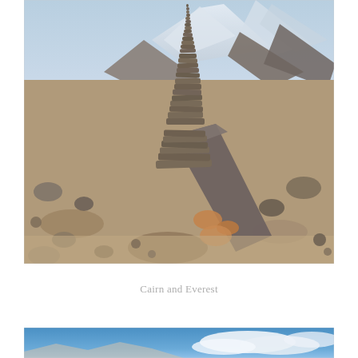[Figure (photo): Close-up photograph of a stone cairn (stacked rocks) in the foreground with rocky terrain, sandy ground, and snow-capped mountain peaks (including Everest) visible in the background.]
Cairn and Everest
[Figure (photo): Partial view of another photograph at the bottom of the page showing blue sky with clouds, likely another mountain landscape scene.]